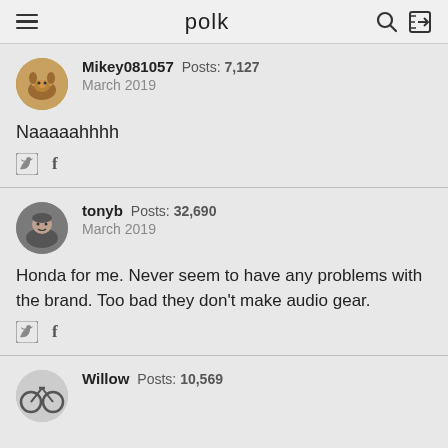polk
Mikey081057  Posts: 7,127
March 2019
Naaaaahhhh
tonyb  Posts: 32,690
March 2019
Honda for me. Never seem to have any problems with the brand. Too bad they don't make audio gear.
Willow  Posts: 10,569